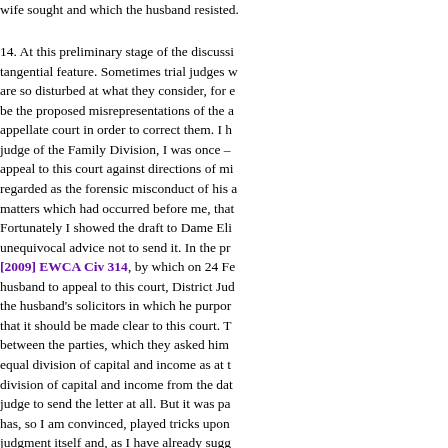wife sought and which the husband resisted.
14. At this preliminary stage of the discussion I should deal with a tangential feature. Sometimes trial judges who have allowed an appeal to this court are so disturbed at what they consider, for example, to be the proposed misrepresentations of the argument to the appellate court in order to correct them. I have to confess that when I was a judge of the Family Division, I was once – at an early stage of an appeal to this court against directions of mine – so angered by what I regarded as the forensic misconduct of his advocate in recounting matters which had occurred before me, that I drafted such a letter. Fortunately I showed the draft to Dame Elizabeth Butler-Sloss who gave me unequivocal advice not to send it. In the present case, in [2009] EWCA Civ 314, by which on 24 February 2009 we gave the husband to appeal to this court, District Judge Mitchell wrote a letter to the husband's solicitors in which he purported to set out matters that it should be made clear to this court. The letter addressed between the parties, which they asked him to determine, namely equal division of capital and income as at the separation or equal division of capital and income from the date of the order, and urged the judge to send the letter at all. But it was paragraph 7 of the letter that has, so I am convinced, played tricks upon him, in the circuit judge's own judgment itself and, as I have already suggested, also in the letter of the circuit judge dated 7 February 2008, quite apart from the equalisation payment so as to reflect the disparity in income following the separation [“the period”] emanating from a conceded principle by the husband.